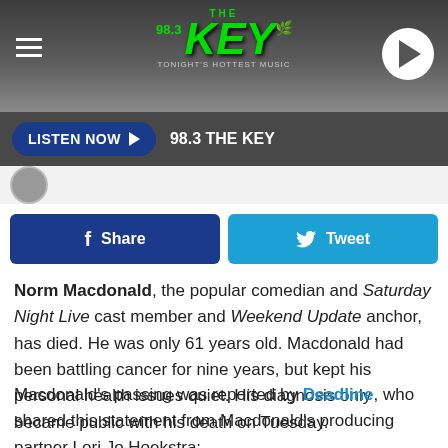LISTEN NOW ▶  98.3 THE KEY
[Figure (logo): 98.3 The Key radio station logo with green text and splatter design]
f Share
Tweet
Norm Macdonald, the popular comedian and Saturday Night Live cast member and Weekend Update anchor, has died. He was only 61 years old. Macdonald had been battling cancer for nine years, but kept his personal health issues quiet. His diagnosis only became public with his death on Tuesday.
Macdonald's passing was reported by Deadline, who shared this statement from Macdonald's producing partner Lori Jo Hoekstra: